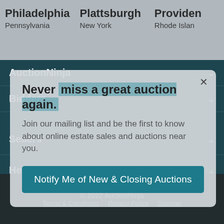Philadelphia
Pennsylvania
Plattsburgh
New York
Providence
Rhode Island
Never miss a great auction again.
Join our mailing list and be the first to know about online estate sales and auctions near you.
Notify Me of New & Closing Auctions
AuctionNinja
Bidders
Sellers
Help
© 2022 AuctionNinja
Terms & Conditions   Privacy Policy   Sitemap